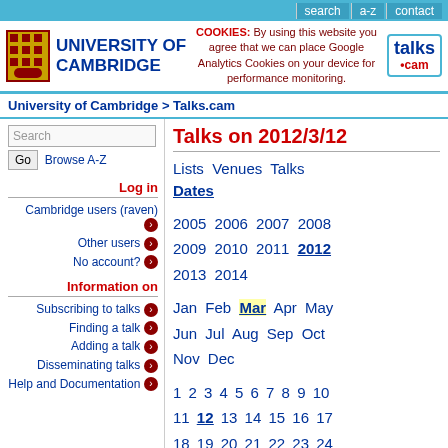search  a-z  contact
[Figure (logo): University of Cambridge shield logo with UNIVERSITY OF CAMBRIDGE text]
COOKIES: By using this website you agree that we can place Google Analytics Cookies on your device for performance monitoring.
[Figure (logo): talks.cam logo]
University of Cambridge > Talks.cam
Search | Go | Browse A-Z
Log in
Cambridge users (raven)
Other users
No account?
Information on
Subscribing to talks
Finding a talk
Adding a talk
Disseminating talks
Help and Documentation
Talks on 2012/3/12
Lists  Venues  Talks  Dates
2005 2006 2007 2008 2009 2010 2011 2012 2013 2014
Jan Feb Mar Apr May Jun Jul Aug Sep Oct Nov Dec
1 2 3 4 5 6 7 8 9 10 11 12 13 14 15 16 17 18 19 20 21 22 23 24 25 26 27 28 29 30 31